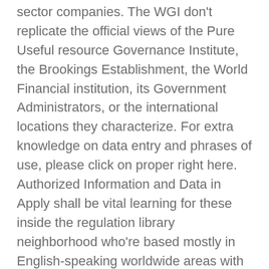sector companies. The WGI don't replicate the official views of the Pure Useful resource Governance Institute, the Brookings Establishment, the World Financial institution, its Government Administrators, or the international locations they characterize. For extra knowledge on data entry and phrases of use, please click on proper right here. Authorized Information and Data in Apply shall be vital learning for these inside the regulation library neighborhood who're based mostly in English-speaking worldwide areas with a normal regulation customized. The e book might even be helpful to these with a typical curiosity in authorized knowledge, along with college students, lecturers engaged within the research of data science and regulation. This truth sheet assortment by the Nationwide Agricultural Legislation Middle covers issues in family regulation and agriculture much like farm succession, property planning, preserving a farm enterprise intact, factors related to animal regulation, child assist, equitable